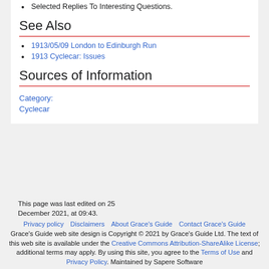Selected Replies To Interesting Questions.
See Also
1913/05/09 London to Edinburgh Run
1913 Cyclecar: Issues
Sources of Information
Category: Cyclecar
This page was last edited on 25 December 2021, at 09:43. Privacy policy  Disclaimers  About Grace's Guide  Contact Grace's Guide  Grace's Guide web site design is Copyright © 2021 by Grace's Guide Ltd. The text of this web site is available under the Creative Commons Attribution-ShareAlike License; additional terms may apply. By using this site, you agree to the Terms of Use and Privacy Policy. Maintained by Sapere Software